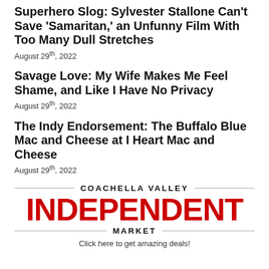Superhero Slog: Sylvester Stallone Can't Save 'Samaritan,' an Unfunny Film With Too Many Dull Stretches
August 29th, 2022
Savage Love: My Wife Makes Me Feel Shame, and Like I Have No Privacy
August 29th, 2022
The Indy Endorsement: The Buffalo Blue Mac and Cheese at I Heart Mac and Cheese
August 29th, 2022
[Figure (logo): Coachella Valley Independent Market logo with red INDEPENDENT text and horizontal rules]
Click here to get amazing deals!